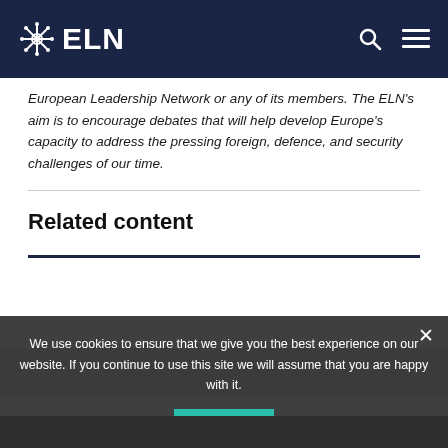ELN
European Leadership Network or any of its members. The ELN's aim is to encourage debates that will help develop Europe's capacity to address the pressing foreign, defence, and security challenges of our time.
Related content
We use cookies to ensure that we give you the best experience on our website. If you continue to use this site we will assume that you are happy with it.